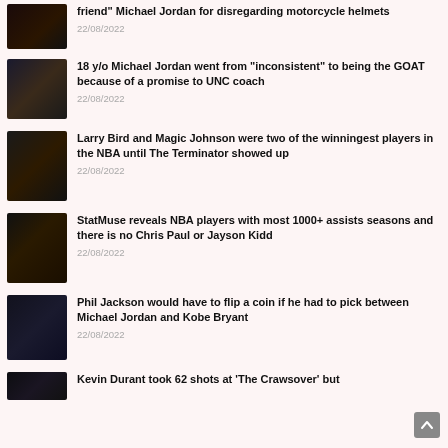friend" Michael Jordan for disregarding motorcycle helmets
22/08/2022
18 y/o Michael Jordan went from "inconsistent" to being the GOAT because of a promise to UNC coach
22/08/2022
Larry Bird and Magic Johnson were two of the winningest players in the NBA until The Terminator showed up
22/08/2022
StatMuse reveals NBA players with most 1000+ assists seasons and there is no Chris Paul or Jayson Kidd
22/08/2022
Phil Jackson would have to flip a coin if he had to pick between Michael Jordan and Kobe Bryant
22/08/2022
Kevin Durant took 62 shots at 'The Crawsover' but